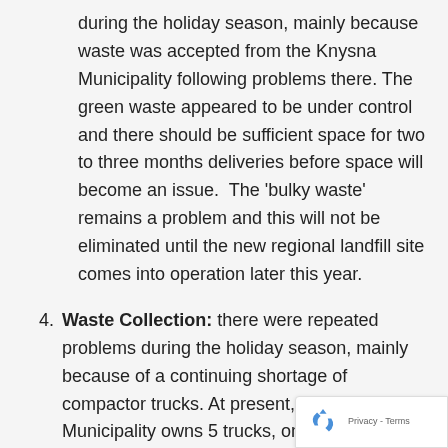during the holiday season, mainly because waste was accepted from the Knysna Municipality following problems there. The green waste appeared to be under control and there should be sufficient space for two to three months deliveries before space will become an issue.  The 'bulky waste' remains a problem and this will not be eliminated until the new regional landfill site comes into operation later this year.
4. Waste Collection: there were repeated problems during the holiday season, mainly because of a continuing shortage of compactor trucks. At present, the Bitou Municipality owns 5 trucks, one of which is stated to be very old and unreliable.  Three of the remaining four are currently in George awaiting maintenance, wh... two additional trucks have been hired at a co... of R57000 per month.  There appears to be a...